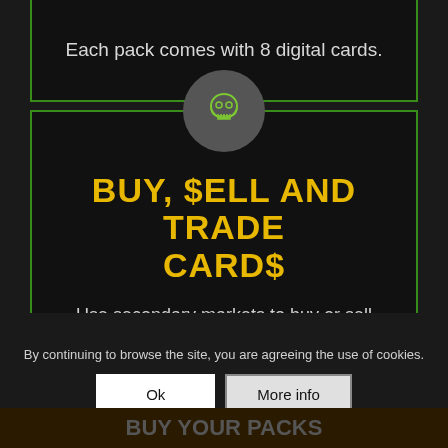Each pack comes with 8 digital cards.
[Figure (illustration): Circular icon with a skull/ghost emoji symbol in green on dark grey background]
BUY, $ELL AND TRADE CARD$
Use secondary markets to buy or sell trading cards.
Check FAQ for an overview of the set.
By continuing to browse the site, you are agreeing the use of cookies.
Buy ... packs